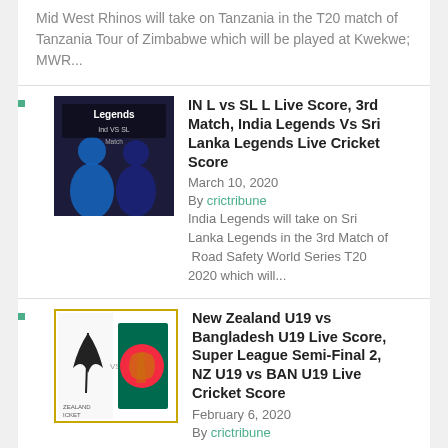Mid West Rhinos will take on Tanzania in the T20 match of Tanzania Tour of Zimbabwe which will be played at Kwekwe; MWR...
IN L vs SL L Live Score, 3rd Match, India Legends Vs Sri Lanka Legends Live Cricket Score
March 10, 2020
By crictribune
India Legends will take on Sri Lanka Legends in the 3rd Match of Road Safety World Series T20 2020 which will...
New Zealand U19 vs Bangladesh U19 Live Score, Super League Semi-Final 2, NZ U19 vs BAN U19 Live Cricket Score
February 6, 2020
By crictribune